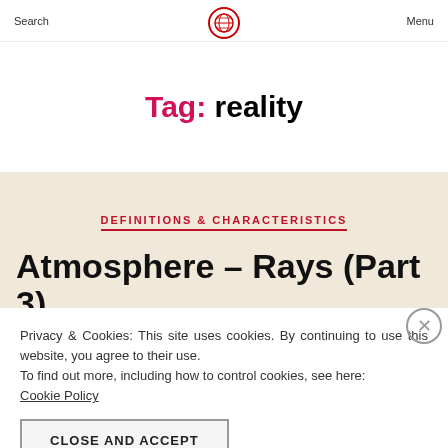Search  Menu
Tag: reality
DEFINITIONS & CHARACTERISTICS
Atmosphere – Rays (Part 3)
Privacy & Cookies: This site uses cookies. By continuing to use this website, you agree to their use.
To find out more, including how to control cookies, see here:
Cookie Policy
CLOSE AND ACCEPT